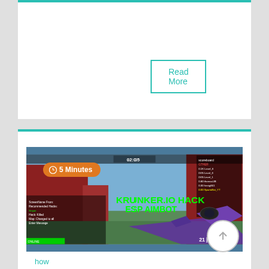Read More
[Figure (screenshot): Screenshot of Krunker.io game showing ESP Aimbot hack overlay with purple gun, scoreboard, and game HUD elements. Green text reads 'KRUNKER.IO HACK ESP AIMBOT'. Timer shows 02:05. Score shows 21|24.]
how
Krunker Io Hacks Chrome Extension